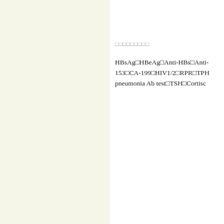□□□□□□□□□
HBsAg□HBeAg□Anti-HBs□Anti-153□CA-199□HIV1/2□RPR□TPH pneumonia Ab test□TSH□Cortisc